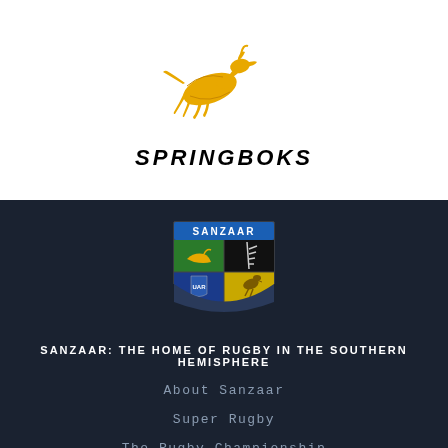[Figure (logo): Springboks logo — a golden leaping springbok antelope above the text SPRINGBOKS in bold italic black lettering]
[Figure (logo): SANZAAR shield logo divided into four quadrants: top-left green with Springbok, top-right black with All Blacks silver fern, bottom-left blue with UAR badge, bottom-right yellow with Wallabies kangaroo. 'SANZAAR' in blue text on white banner at top of shield.]
SANZAAR: THE HOME OF RUGBY IN THE SOUTHERN HEMISPHERE
About Sanzaar
Super Rugby
The Rugby Championship
Contact Sanzaar